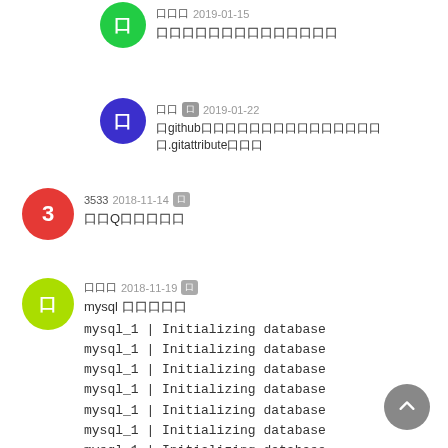口口 2019-01-15 口口口口口口口口口口口口口口
口口 口 2019-01-22 口github口口口口口口口口口口口口口口口口.gitattribute口口口
3533 2018-11-14 口口Q口口口口口
口口口 2018-11-19 口 mysql 口口口口口
mysql_1 | Initializing database
mysql_1 | Initializing database
mysql_1 | Initializing database
mysql_1 | Initializing database
mysql_1 | Initializing database
mysql_1 | Initializing database
mysql_1 | Initializing database